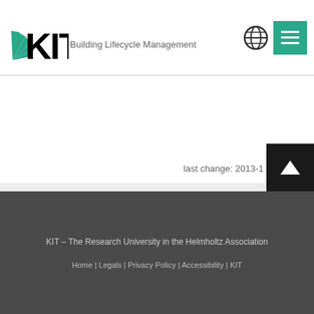KIT Building Lifecycle Management
last change: 2013-1
KIT – The Research University in the Helmholtz Association
Home | Legals | Privacy Policy | Accessibility | KIT